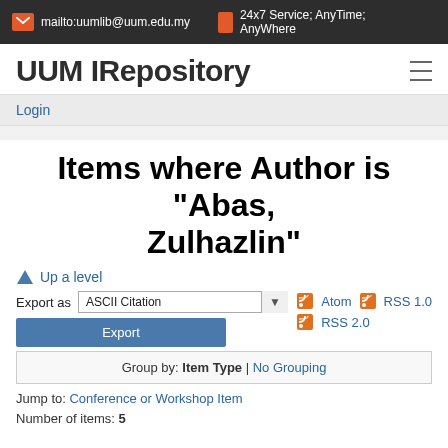mailto:uumlib@uum.edu.my  24x7 Service; AnyTime; AnyWhere
UUM IRepository
Login
Items where Author is "Abas, Zulhazlin"
Up a level
Export as  ASCII Citation  Export  Atom  RSS 1.0  RSS 2.0
Group by: Item Type | No Grouping
Jump to: Conference or Workshop Item
Number of items: 5